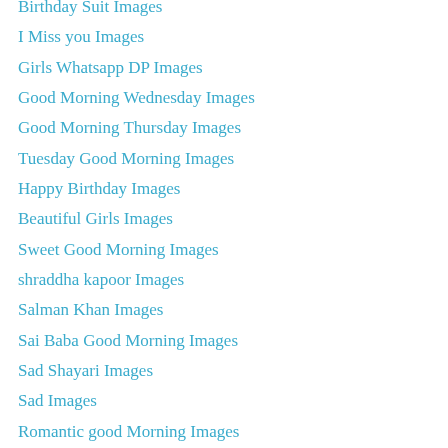Birthday Suit Images
I Miss you Images
Girls Whatsapp DP Images
Good Morning Wednesday Images
Good Morning Thursday Images
Tuesday Good Morning Images
Happy Birthday Images
Beautiful Girls Images
Sweet Good Morning Images
shraddha kapoor Images
Salman Khan Images
Sai Baba Good Morning Images
Sad Shayari Images
Sad Images
Romantic good Morning Images
Romantic Whatsapp DP
Radha Krishna Images
Rakul Preet Singh
Love Whatsapp DP
Hindi Good Night Images